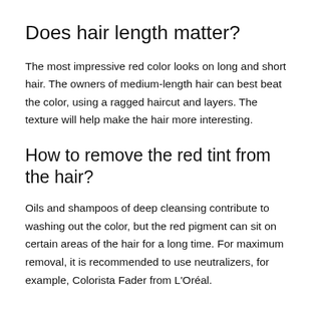Does hair length matter?
The most impressive red color looks on long and short hair. The owners of medium-length hair can best beat the color, using a ragged haircut and layers. The texture will help make the hair more interesting.
How to remove the red tint from the hair?
Oils and shampoos of deep cleansing contribute to washing out the color, but the red pigment can sit on certain areas of the hair for a long time. For maximum removal, it is recommended to use neutralizers, for example, Colorista Fader from L'Oréal.